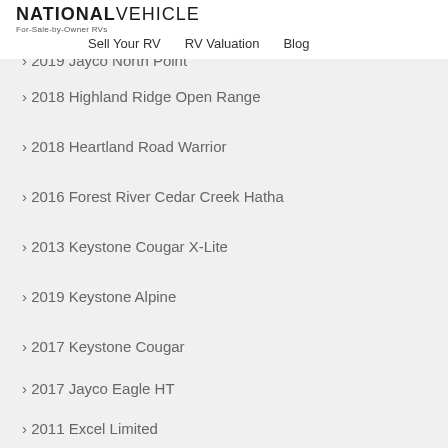NATIONAL VEHICLE — For-Sale-by-Owner RVs | Sell Your RV | RV Valuation | Blog
› 2021 Grand Design Solitude
› 2019 Jayco North Point
› 2018 Highland Ridge Open Range
› 2018 Heartland Road Warrior
› 2016 Forest River Cedar Creek Hatha
› 2013 Keystone Cougar X-Lite
› 2019 Keystone Alpine
› 2017 Keystone Cougar
› 2017 Jayco Eagle HT
› 2011 Excel Limited
› 2020 Jayco Pinnacle
› 2017 Dutchmen Voltage Toy Hauler
› 2021 Forest River Flagstaff Classic